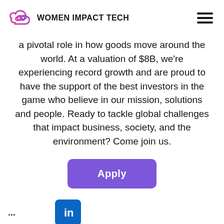WOMEN IMPACT TECH
a pivotal role in how goods move around the world. At a valuation of $8B, we're experiencing record growth and are proud to have the support of the best investors in the game who believe in our mission, solutions and people. Ready to tackle global challenges that impact business, society, and the environment? Come join us.
[Figure (other): Purple 'Apply' button]
[Figure (logo): LinkedIn logo icon]
...